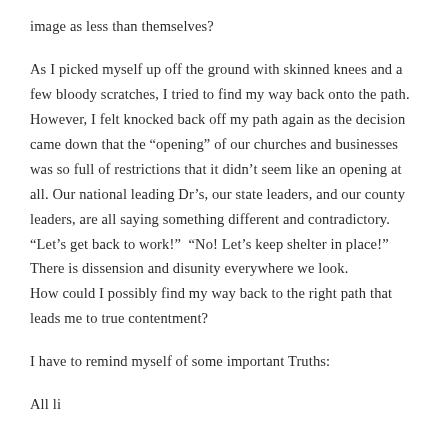image as less than themselves?
As I picked myself up off the ground with skinned knees and a few bloody scratches, I tried to find my way back onto the path. However, I felt knocked back off my path again as the decision came down that the “opening” of our churches and businesses was so full of restrictions that it didn’t seem like an opening at all. Our national leading Dr’s, our state leaders, and our county leaders, are all saying something different and contradictory. “Let’s get back to work!” “No! Let’s keep shelter in place!” There is dissension and disunity everywhere we look.
How could I possibly find my way back to the right path that leads me to true contentment?
I have to remind myself of some important Truths:
All li...